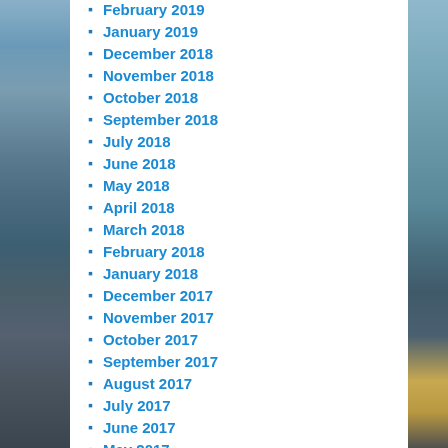February 2019
January 2019
December 2018
November 2018
October 2018
September 2018
July 2018
June 2018
May 2018
April 2018
March 2018
February 2018
January 2018
December 2017
November 2017
October 2017
September 2017
August 2017
July 2017
June 2017
May 2017
April 2017